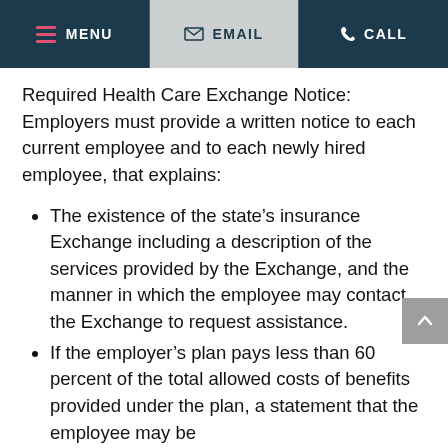MENU  EMAIL  CALL
Required Health Care Exchange Notice: Employers must provide a written notice to each current employee and to each newly hired employee, that explains:
The existence of the state’s insurance Exchange including a description of the services provided by the Exchange, and the manner in which the employee may contact the Exchange to request assistance.
If the employer’s plan pays less than 60 percent of the total allowed costs of benefits provided under the plan, a statement that the employee may be